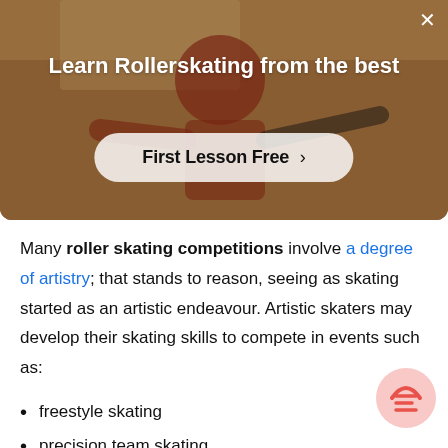[Figure (photo): Advertisement overlay showing a person roller skating, with semi-transparent background. Contains title 'Learn Rollerskating from the best' and a call-to-action button 'First Lesson Free >']
Many roller skating competitions involve a degree of artistry; that stands to reason, seeing as skating started as an artistic endeavour. Artistic skaters may develop their skating skills to compete in events such as:
freestyle skating
precision team skating